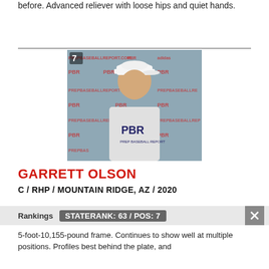before. Advanced reliever with loose hips and quiet hands.
[Figure (photo): Player photo of Garrett Olson wearing a white baseball cap with dark logo and a gray PBR (Prep Baseball Report) t-shirt, standing in front of a PBR/adidas branded backdrop. Number 7 badge in top-left corner.]
GARRETT OLSON
C / RHP / MOUNTAIN RIDGE, AZ / 2020
Rankings  STATE RANK: 63 / POS: 7
5-foot-10,155-pound frame. Continues to show well at multiple positions. Profiles best behind the plate, and